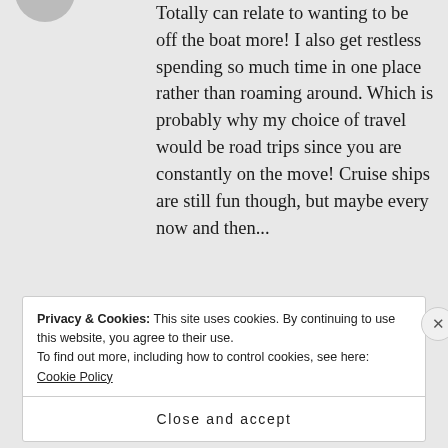Totally can relate to wanting to be off the boat more! I also get restless spending so much time in one place rather than roaming around. Which is probably why my choice of travel would be road trips since you are constantly on the move! Cruise ships are still fun though, but maybe every now and then...
★ Like
Privacy & Cookies: This site uses cookies. By continuing to use this website, you agree to their use. To find out more, including how to control cookies, see here: Cookie Policy
Close and accept